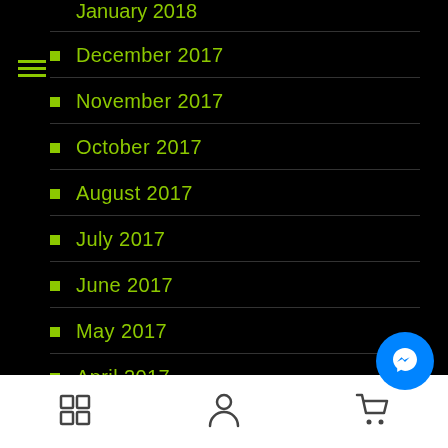January 2018 (partial, cut off at top)
December 2017
November 2017
October 2017
August 2017
July 2017
June 2017
May 2017
April 2017
March 2017
February 2017
[Figure (screenshot): Mobile app bottom navigation toolbar with grid icon, user icon, and cart icon. Blue circular Messenger FAB button overlaid at bottom right.]